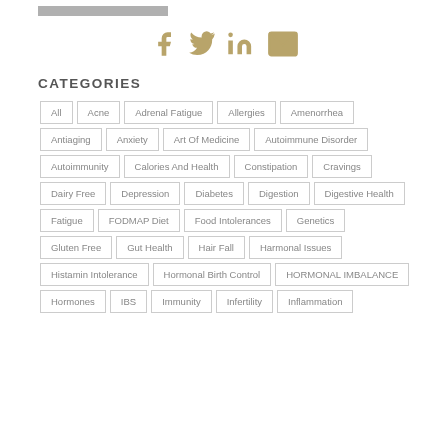[Figure (illustration): Gray rectangle bar at top left, partial button or header element]
[Figure (illustration): Social media share icons: Facebook, Twitter, LinkedIn, Email in gold/tan color]
CATEGORIES
All
Acne
Adrenal Fatigue
Allergies
Amenorrhea
Antiaging
Anxiety
Art Of Medicine
Autoimmune Disorder
Autoimmunity
Calories And Health
Constipation
Cravings
Dairy Free
Depression
Diabetes
Digestion
Digestive Health
Fatigue
FODMAP Diet
Food Intolerances
Genetics
Gluten Free
Gut Health
Hair Fall
Harmonal Issues
Histamin Intolerance
Hormonal Birth Control
HORMONAL IMBALANCE
Hormones
IBS
Immunity
Infertility
Inflammation